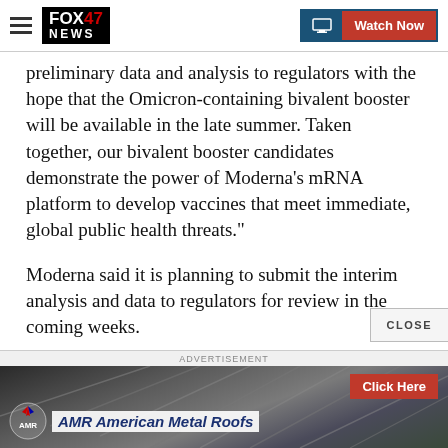FOX 47 NEWS | Watch Now
preliminary data and analysis to regulators with the hope that the Omicron-containing bivalent booster will be available in the late summer. Taken together, our bivalent booster candidates demonstrate the power of Moderna's mRNA platform to develop vaccines that meet immediate, global public health threats."
Moderna said it is planning to submit the interim analysis and data to regulators for review in the coming weeks.
[Figure (screenshot): Advertisement banner for American Metal Roofs with 'Click Here' button and AMR logo]
ADVERTISEMENT